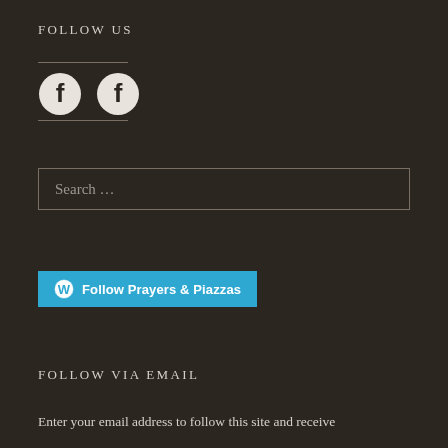FOLLOW US
[Figure (illustration): Two Facebook social media icon circles (dark background with Facebook 'f' logo)]
[Figure (screenshot): Search box with placeholder text 'Search ...']
[Figure (illustration): WordPress follow button in blue: 'Follow Prayers & Piazzas']
FOLLOW VIA EMAIL
Enter your email address to follow this site and receive